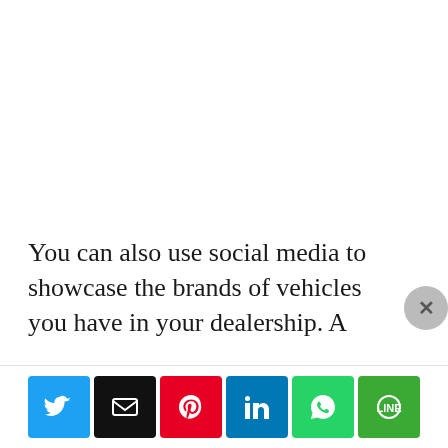You can also use social media to showcase the brands of vehicles you have in your dealership. A
[Figure (infographic): Row of six social media sharing buttons: Twitter (blue), Email (black), Pinterest (red), LinkedIn (blue), WhatsApp (green), LINE (green)]